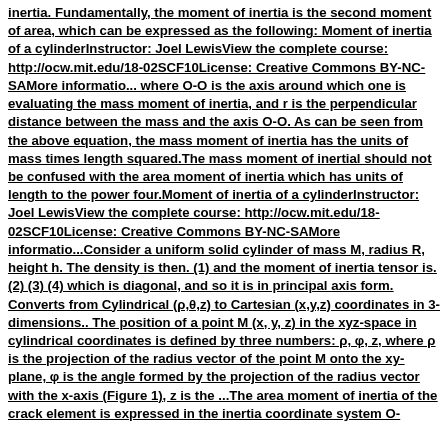inertia. Fundamentally, the moment of inertia is the second moment of area, which can be expressed as the following: Moment of inertia of a cylinderInstructor: Joel LewisView the complete course: http://ocw.mit.edu/18-02SCF10License: Creative Commons BY-NC-SAMore informatio... where O-O is the axis around which one is evaluating the mass moment of inertia, and r is the perpendicular distance between the mass and the axis O-O. As can be seen from the above equation, the mass moment of inertia has the units of mass times length squared.The mass moment of inertial should not be confused with the area moment of inertia which has units of length to the power four.Moment of inertia of a cylinderInstructor: Joel LewisView the complete course: http://ocw.mit.edu/18-02SCF10License: Creative Commons BY-NC-SAMore informatio...Consider a uniform solid cylinder of mass M, radius R, height h. The density is then. (1) and the moment of inertia tensor is. (2) (3) (4) which is diagonal, and so it is in principal axis form. Converts from Cylindrical (ρ,θ,z) to Cartesian (x,y,z) coordinates in 3-dimensions.. The position of a point M (x, y, z) in the xyz-space in cylindrical coordinates is defined by three numbers: ρ, φ, z, where ρ is the projection of the radius vector of the point M onto the xy-plane, φ is the angle formed by the projection of the radius vector with the x-axis (Figure 1), z is the ...The area moment of inertia of the crack element is expressed in the inertia coordinate system O-